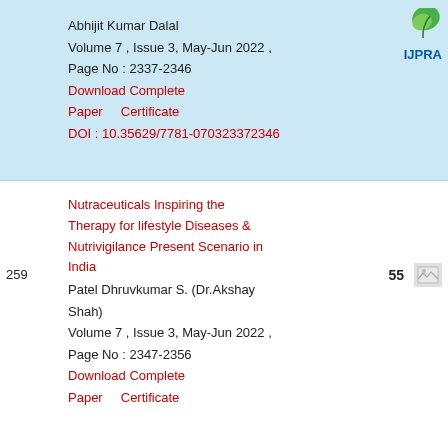Abhijit Kumar Dalal
Volume 7 , Issue 3, May-Jun 2022 ,
Page No : 2337-2346
Download Complete
Paper    Certificate
DOI : 10.35629/7781-070323372346
[Figure (logo): IJPRA journal logo with green leaf and blue text]
Nutraceuticals Inspiring the Therapy for lifestyle Diseases & Nutrivigilance Present Scenario in India
Patel Dhruvkumar S. (Dr.Akshay Shah)
259
55
Volume 7 , Issue 3, May-Jun 2022 ,
Page No : 2347-2356
Download Complete
Paper    Certificate